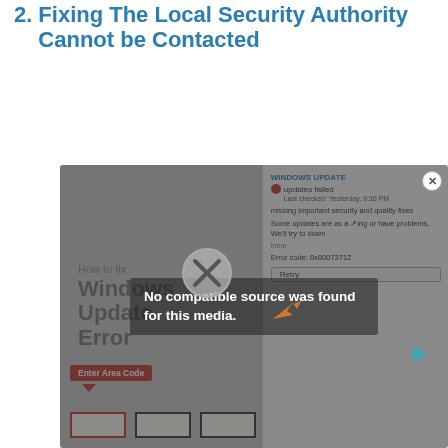2. Fixing The Local Security Authority Cannot be Contacted
[Figure (screenshot): A screenshot of a Windows Update Error page showing a video player with the overlay message 'No compatible source was found for this media.' and a Windows Update failure dialog showing error code 0x80073712 with a Retry button. Below is a bottom bar with input fields and an 'Enter Area Code' label.]